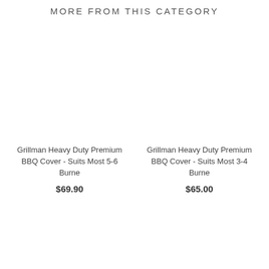MORE FROM THIS CATEGORY
Grillman Heavy Duty Premium BBQ Cover - Suits Most 5-6 Burne
$69.90
Grillman Heavy Duty Premium BBQ Cover - Suits Most 3-4 Burne
$65.00